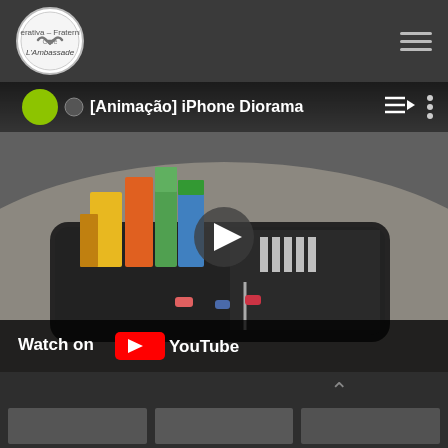[Figure (logo): Circular logo for Café L'Ambassade, showing a handshake icon]
[Figure (screenshot): YouTube embedded video player showing '[Animação] iPhone Diorama' — a miniature city diorama on an iPhone, with green circle channel icon, play button overlay, playlist and more-options icons, and 'Watch on YouTube' bar at bottom]
[Figure (photo): Dark bottom section with a caret/up-arrow icon on the right side, and three blurred thumbnail images at the very bottom]